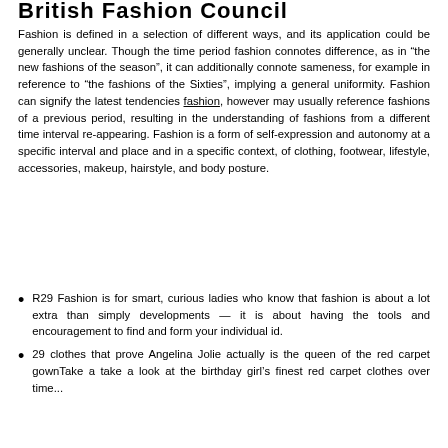British Fashion Council
Fashion is defined in a selection of different ways, and its application could be generally unclear. Though the time period fashion connotes difference, as in “the new fashions of the season”, it can additionally connote sameness, for example in reference to “the fashions of the Sixties”, implying a general uniformity. Fashion can signify the latest tendencies fashion, however may usually reference fashions of a previous period, resulting in the understanding of fashions from a different time interval re-appearing. Fashion is a form of self-expression and autonomy at a specific interval and place and in a specific context, of clothing, footwear, lifestyle, accessories, makeup, hairstyle, and body posture.
R29 Fashion is for smart, curious ladies who know that fashion is about a lot extra than simply developments — it is about having the tools and encouragement to find and form your individual id.
29 clothes that prove Angelina Jolie actually is the queen of the red carpet gownTake a take a look at the birthday girl’s finest red carpet clothes over time...